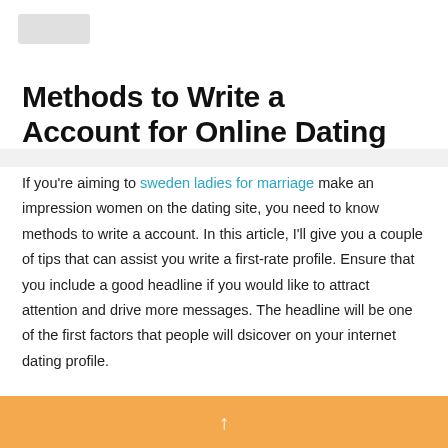Methods to Write a Account for Online Dating
If you're aiming to sweden ladies for marriage make an impression women on the dating site, you need to know methods to write a account. In this article, I'll give you a couple of tips that can assist you write a first-rate profile. Ensure that you include a good headline if you would like to attract attention and drive more messages. The headline will be one of the first factors that people will dsicover on your internet dating profile.
↑